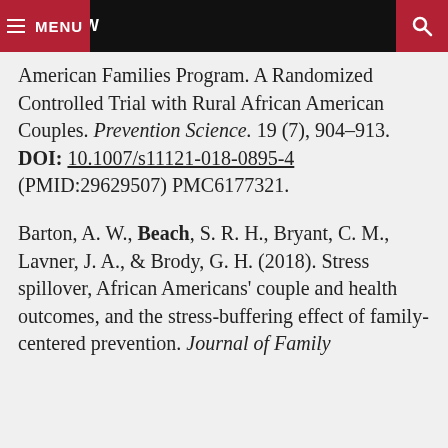MENU  GIVE NOW  [search]
American Families Program. A Randomized Controlled Trial with Rural African American Couples. Prevention Science. 19 (7), 904–913. DOI: 10.1007/s11121-018-0895-4 (PMID:29629507) PMC6177321.
Barton, A. W., Beach, S. R. H., Bryant, C. M., Lavner, J. A., & Brody, G. H. (2018). Stress spillover, African Americans' couple and health outcomes, and the stress-buffering effect of family-centered prevention. Journal of Family Psychology. 32(3), 424–434.